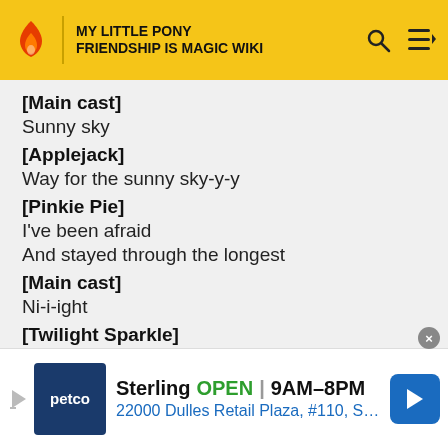MY LITTLE PONY FRIENDSHIP IS MAGIC WIKI
[Main cast]
Sunny sky
[Applejack]
Way for the sunny sky-y-y
[Pinkie Pie]
I've been afraid
And stayed through the longest
[Main cast]
Ni-i-ight
[Twilight Sparkle]
Through the longest ni-i-ight
[Pinkie Pie]
[Figure (other): Petco advertisement banner: Sterling OPEN 9AM-8PM, 22000 Dulles Retail Plaza, #110, S...]